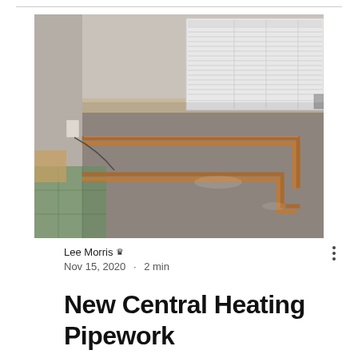[Figure (photo): Photograph of copper central heating pipework laid along the floor in a room under renovation, with a white radiator against the wall and exposed concrete/screed floor.]
Lee Morris 👑
Nov 15, 2020 · 2 min
New Central Heating Pipework